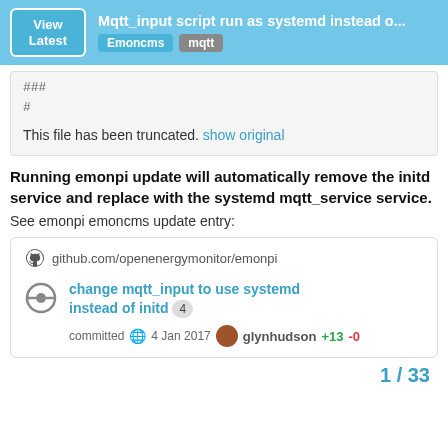Mqtt_input script run as systemd instead o... | Emoncms | mqtt
###
#
This file has been truncated. show original
Running emonpi update will automatically remove the initd service and replace with the systemd mqtt_service service.
See emonpi emoncms update entry:
[Figure (screenshot): GitHub commit card showing: github.com/openenergymonitor/emonpi with commit 'change mqtt_input to use systemd instead of initd' (4 comments), committed on 4 Jan 2017 by glynhudson, +13 -0]
1 / 33